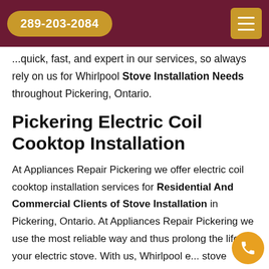289-203-2084
Whirlpool electric stove installation needs. We are quick, fast, and expert in our services, so always rely on us for Whirlpool Stove Installation Needs throughout Pickering, Ontario.
Pickering Electric Coil Cooktop Installation
At Appliances Repair Pickering we offer electric coil cooktop installation services for Residential And Commercial Clients of Stove Installation in Pickering, Ontario. At Appliances Repair Pickering we use the most reliable way and thus prolong the life of your electric stove. With us, Whirlpool electric stove installation does not need to be a hassle.